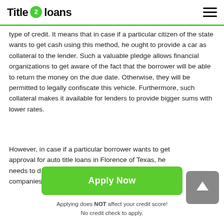Title 2 loans
type of credit. It means that in case if a particular citizen of the state wants to get cash using this method, he ought to provide a car as collateral to the lender. Such a valuable pledge allows financial organizations to get aware of the fact that the borrower will be able to return the money on the due date. Otherwise, they will be permitted to legally confiscate this vehicle. Furthermore, such collateral makes it available for lenders to provide bigger sums with lower rates.
However, in case if a particular borrower wants to get approval for auto title loans in Florence of Texas, he needs to draw attention to several rules most of the companies
[Figure (other): Scroll-to-top button, gray rounded square with white upward arrow]
Apply Now
Applying does NOT affect your credit score!
No credit check to apply.